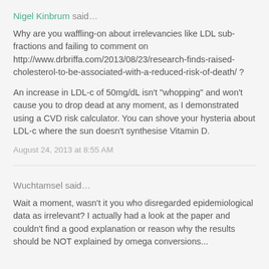Nigel Kinbrum said…
Why are you waffling-on about irrelevancies like LDL sub-fractions and failing to comment on http://www.drbriffa.com/2013/08/23/research-finds-raised-cholesterol-to-be-associated-with-a-reduced-risk-of-death/ ?
An increase in LDL-c of 50mg/dL isn't "whopping" and won't cause you to drop dead at any moment, as I demonstrated using a CVD risk calculator. You can shove your hysteria about LDL-c where the sun doesn't synthesise Vitamin D.
August 24, 2013 at 8:55 AM
Wuchtamsel said…
Wait a moment, wasn't it you who disregarded epidemiological data as irrelevant? I actually had a look at the paper and couldn't find a good explanation or reason why the results should be NOT explained by omega conversions...